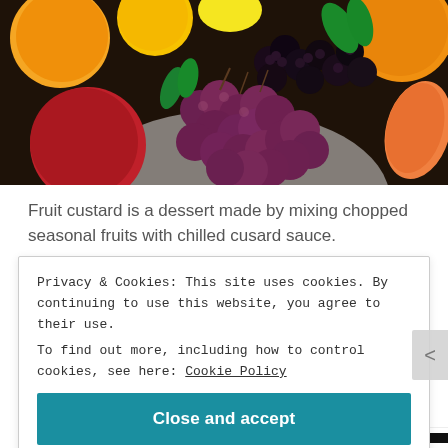[Figure (photo): Close-up photograph of mixed fruits including oranges, blackberries, dark grapes/gooseberries, a red apple, and mint leaves arranged on a white surface.]
Fruit custard is a dessert made by mixing chopped seasonal fruits with chilled cusard sauce.
Privacy & Cookies: This site uses cookies. By continuing to use this website, you agree to their use.
To find out more, including how to control cookies, see here: Cookie Policy
Close and accept